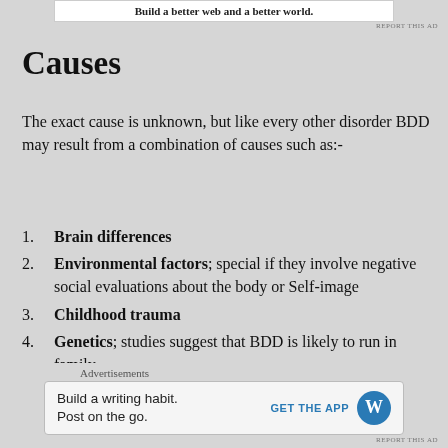[Figure (other): Top banner with text: Build a better web and a better world.]
Causes
The exact cause is unknown, but like every other disorder BDD may result from a combination of causes such as:-
Brain differences
Environmental factors; special if they involve negative social evaluations about the body or Self-image
Childhood trauma
Genetics; studies suggest that BDD is likely to run in family.
Advertisements
[Figure (other): Advertisement: Build a writing habit. Post on the go. GET THE APP with WordPress logo.]